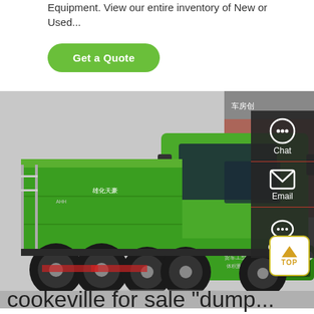Equipment. View our entire inventory of New or Used...
Get a Quote
[Figure (photo): A large green multi-axle dump truck photographed in a yard, with Chinese text visible on doors and in background signage. Side panel shows branding. Sidebar with Chat, Email, and Contact icons visible on the right.]
cookeville for sale "dump...